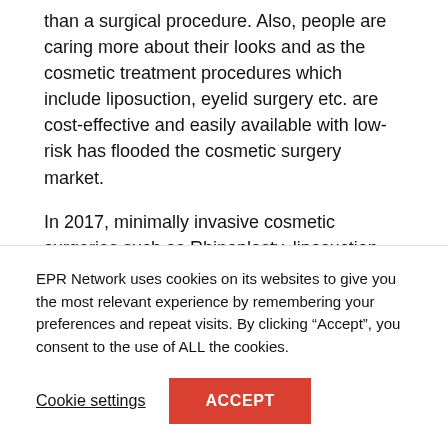than a surgical procedure. Also, people are caring more about their looks and as the cosmetic treatment procedures which include liposuction, eyelid surgery etc. are cost-effective and easily available with low-risk has flooded the cosmetic surgery market.
In 2017, minimally invasive cosmetic surgeries such as Rhinoplasty, liposuction, and breast augmentation is growing slightly at a higher pace rather than surgical procedures.
Rising geriatric population with an increased number of patients looking for relief from heavy sleep apnea and
EPR Network uses cookies on its websites to give you the most relevant experience by remembering your preferences and repeat visits. By clicking “Accept”, you consent to the use of ALL the cookies.
Cookie settings
ACCEPT